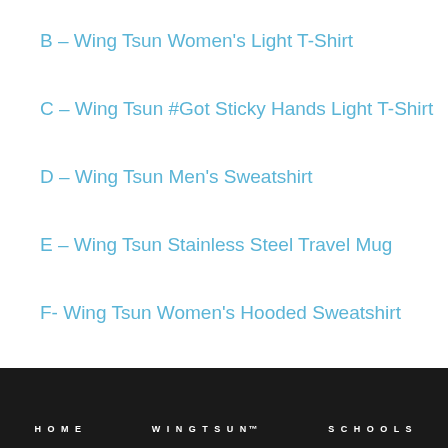B – Wing Tsun Women's Light T-Shirt
C – Wing Tsun #Got Sticky Hands Light T-Shirt
D – Wing Tsun Men's Sweatshirt
E – Wing Tsun Stainless Steel Travel Mug
F- Wing Tsun Women's Hooded Sweatshirt
G – Wing Tsun Women's Zip Hoodie
H – Wing Tsun Men's Hoodie (dark)
HOME   WINGTSUN™   SCHOOLS